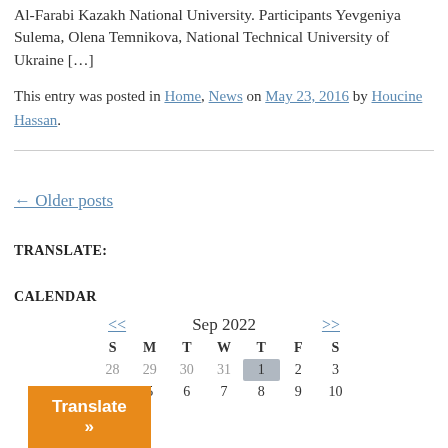Al-Farabi Kazakh National University. Participants Yevgeniya Sulema, Olena Temnikova, National Technical University of Ukraine […]
This entry was posted in Home, News on May 23, 2016 by Houcine Hassan.
← Older posts
TRANSLATE:
CALENDAR
| S | M | T | W | T | F | S |
| --- | --- | --- | --- | --- | --- | --- |
| 28 | 29 | 30 | 31 | 1 | 2 | 3 |
| 4 | 5 | 6 | 7 | 8 | 9 | 10 |